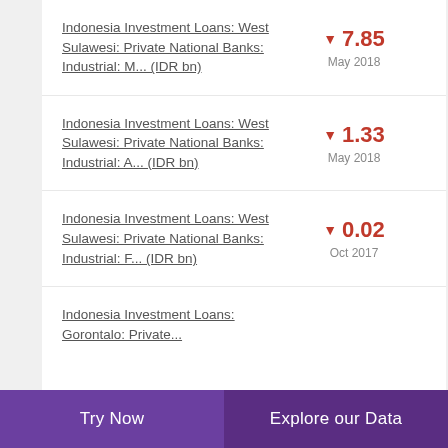Indonesia Investment Loans: West Sulawesi: Private National Banks: Industrial: M... (IDR bn) ▼ 7.85 May 2018
Indonesia Investment Loans: West Sulawesi: Private National Banks: Industrial: A... (IDR bn) ▼ 1.33 May 2018
Indonesia Investment Loans: West Sulawesi: Private National Banks: Industrial: F... (IDR bn) ▼ 0.02 Oct 2017
Indonesia Investment Loans: Gorontalo: Private...
Try Now | Explore our Data